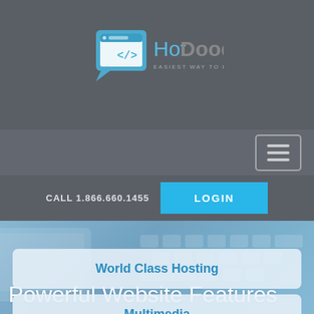[Figure (logo): HotDoodle logo with speech bubble icon showing a browser window, text 'HotDoodle' in blue/gray, and tagline 'EASIEST WAY TO HAVE A WEBSITE']
[Figure (screenshot): Navigation bar with hamburger menu button (three horizontal lines) on dark gray background]
CALL 1.866.660.1455
LOGIN
Powerful Website Features
World Class Hosting
Multimedia